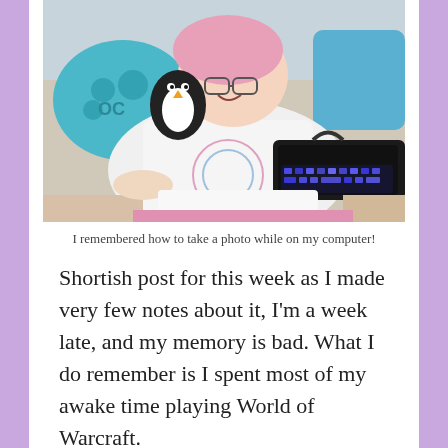[Figure (photo): Person lying in bed holding a penguin plush toy with a lit mechanical keyboard on their lap. They are wearing a white graphic t-shirt and glasses, with teal/blue pillows behind them.]
I remembered how to take a photo while on my computer!
Shortish post for this week as I made very few notes about it, I’m a week late, and my memory is bad. What I do remember is I spent most of my awake time playing World of Warcraft.
In World of Warcraft, other than doing world quests and a bit of archeology, I mostly concentrated on the Jaina questline. This is one of the most emotional storylines I’ve ever played through, and I cried. As